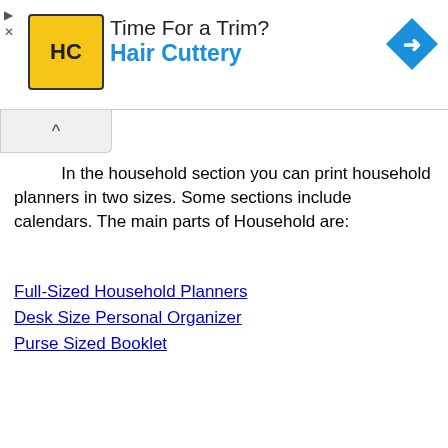[Figure (other): Hair Cuttery advertisement banner with yellow HC logo and blue directional arrow icon]
In the household section you can print household planners in two sizes. Some sections include calendars. The main parts of Household are:
Full-Sized Household Planners
Desk Size Personal Organizer
Purse Sized Booklet
Small Desk Calendar
Recipes
Art | Index
I was one of those children who drew on walls. My art section is not nearly large enough and I really want to work on it, but there are so many parts to this website to work on. The main